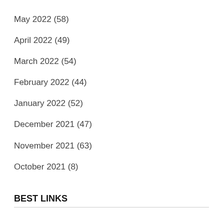May 2022 (58)
April 2022 (49)
March 2022 (54)
February 2022 (44)
January 2022 (52)
December 2021 (47)
November 2021 (63)
October 2021 (8)
BEST LINKS